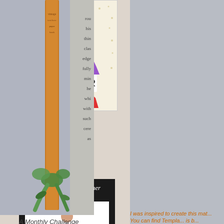[Figure (illustration): Rainbow gnome wearing a colorful layered hat with 'DESIGNER' text overlay on a cream dotted background card]
ATG Challenge Blog
OWNER/DESIGNER A PLACE TO START
[Figure (illustration): Black chalkboard-style badge reading 'I Am A Resident Designer at A PLACE TO START' with a child drawing illustration]
A Monthly Challenge
[Figure (photo): Craft project photo showing a decorated wooden piece with vintage book page text, orange/wood frame, and green ribbon/bow on gray background]
I was inspired to create this mat... You can find Templa... is b...